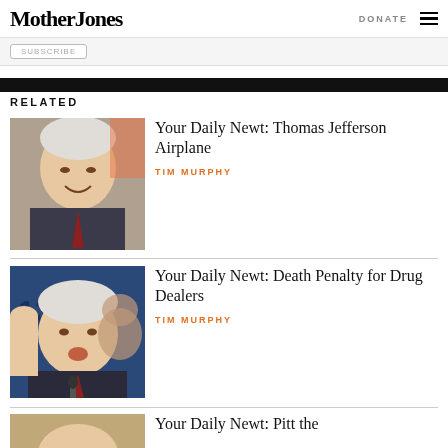Mother Jones | DONATE
RELATED
[Figure (photo): Newt Gingrich smiling, hand raised near face]
Your Daily Newt: Thomas Jefferson Airplane
TIM MURPHY
[Figure (photo): Newt Gingrich with hand raised, speaking at microphone with blue background]
Your Daily Newt: Death Penalty for Drug Dealers
TIM MURPHY
[Figure (photo): Partial photo, bottom of page]
Your Daily Newt: Pitt the